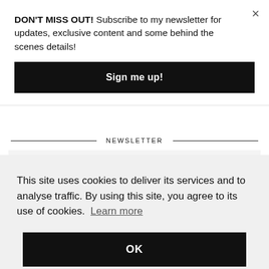DON'T MISS OUT! Subscribe to my newsletter for updates, exclusive content and some behind the scenes details!
Sign me up!
NEWSLETTER
This site uses cookies to deliver its services and to analyse traffic. By using this site, you agree to its use of cookies. Learn more
OK